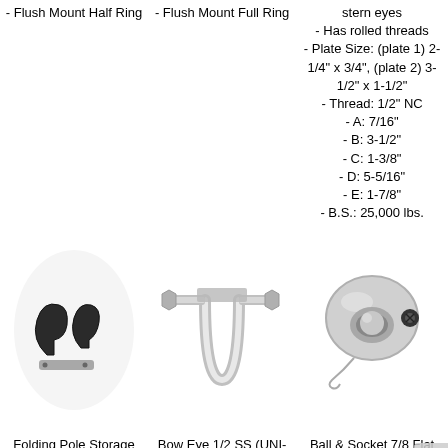- Flush Mount Half Ring
- Flush Mount Full Ring
stern eyes
- Has rolled threads
- Plate Size: (plate 1) 2-1/4" x 3/4", (plate 2) 3-1/2" x 1-1/2"
- Thread: 1/2" NC
- A: 7/16"
- B: 3-1/2"
- C: 1-3/8"
- D: 5-5/16"
- E: 1-7/8"
- B.S.: 25,000 lbs.
[Figure (photo): Folding Pole Storage Bracket SS - black plastic brackets with mounting plate]
[Figure (photo): Bow Eye 1/2 SS (UNI-11457) - stainless steel U-bolt/shackle hardware]
[Figure (photo): Ball & Socket 7/8 Flat Deck Hinge - chrome/silver ball and socket hinge mechanism]
Folding Pole Storage Bracket SS
Bow Eye 1/2 SS (UNI-11457)
Ball & Socket 7/8 Flat Deck Hinge
Our Price: $20.95
Our Price: $20.99
Our Price: $24.95